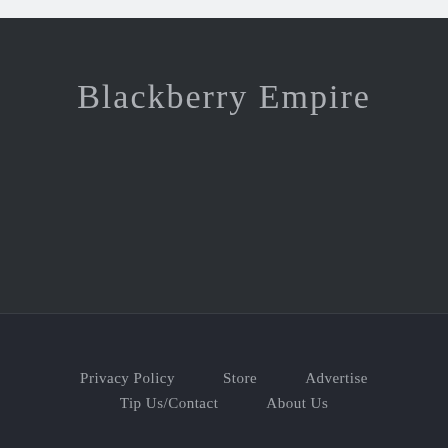Blackberry Empire
Privacy Policy   Store   Advertise   Tip Us/Contact   About Us